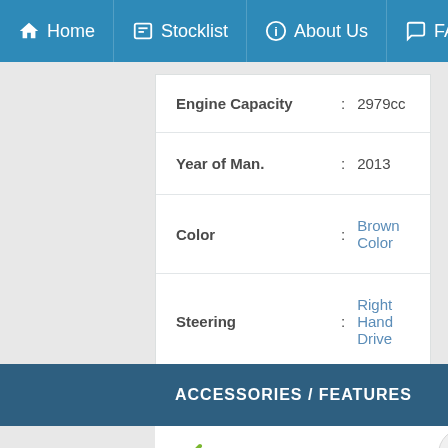Home | Stocklist | About Us | FAQ /
| Field |  | Value |
| --- | --- | --- |
| Engine Capacity | : | 2979cc |
| Year of Man. | : | 2013 |
| Color | : | Brown Color |
| Steering | : | Right Hand Drive |
ACCESSORIES / FEATURES
[Figure (other): Green checkmark tick icon]
[Figure (other): WhatsApp Us button with WhatsApp logo]